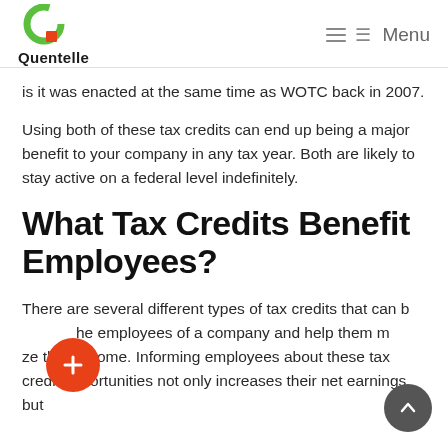Quentelle — Menu
is it was enacted at the same time as WOTC back in 2007.
Using both of these tax credits can end up being a major benefit to your company in any tax year. Both are likely to stay active on a federal level indefinitely.
What Tax Credits Benefit Employees?
There are several different types of tax credits that can benefit the employees of a company and help them maximize their income. Informing employees about these tax credit opportunities not only increases their net earnings but